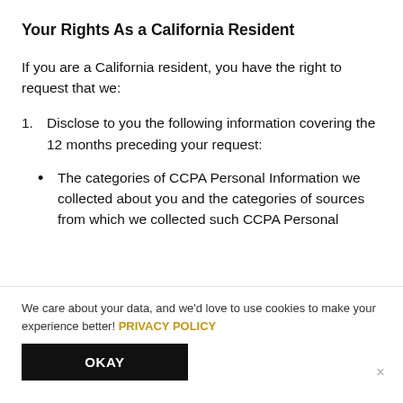Your Rights As a California Resident
If you are a California resident, you have the right to request that we:
1.  Disclose to you the following information covering the 12 months preceding your request:
The categories of CCPA Personal Information we collected about you and the categories of sources from which we collected such CCPA Personal
We care about your data, and we'd love to use cookies to make your experience better! PRIVACY POLICY
OKAY